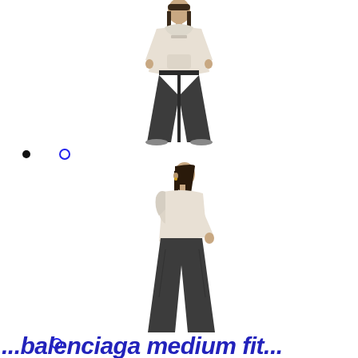[Figure (photo): Full-body front view of a model wearing a cream/off-white hoodie and dark charcoal wide-leg sweatpants with white sneakers, standing against white background]
[Figure (photo): Side view (profile) of a model wearing a cream/off-white hoodie with hood visible and dark charcoal wide-leg sweatpants, standing against white background]
...balenciaga medium fit...